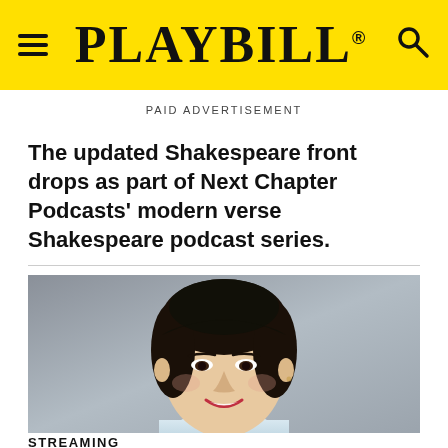PLAYBILL
PAID ADVERTISEMENT
The updated Shakespeare front drops as part of Next Chapter Podcasts' modern verse Shakespeare podcast series.
[Figure (photo): Headshot photo of a smiling Asian woman with short black hair wearing a light blue top, photographed against a gray background.]
STREAMING